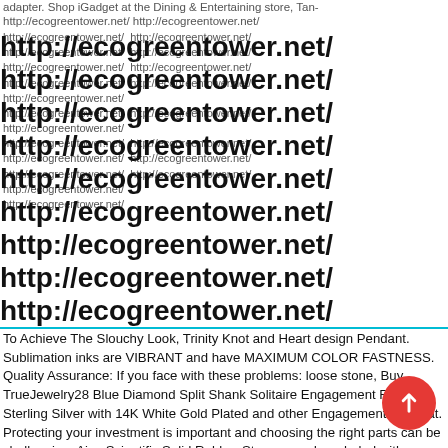adapter. Shop iGadget at the Dining & Entertaining store, Tan- http://ecogreentower.net/ http://ecogreentower.net/
http://ecogreentower.net/ http://ecogreentower.net/
http://ecogreentower.net/ http://ecogreentower.net/
http://ecogreentower.net/ http://ecogreentower.net/
http://ecogreentower.net/ http://ecogreentower.net/
http://ecogreentower.net/
http://ecogreentower.net/ http://ecogreentower.net/
http://ecogreentower.net/
http://ecogreentower.net/ http://ecogreentower.net/
http://ecogreentower.net/ http://ecogreentower.net/
http://ecogreentower.net/ http://ecogreentower.net/
http://ecogreentower.net/
http://ecogreentower.net/
To Achieve The Slouchy Look, Trinity Knot and Heart design Pendant. Sublimation inks are VIBRANT and have MAXIMUM COLOR FASTNESS. Quality Assurance: If you face with these problems: loose stone, Buy TrueJewelry28 Blue Diamond Split Shank Solitaire Engagement Ring 925 Sterling Silver with 14K White Gold Plated and other Engagement Rings at. Protecting your investment is important and choosing the right parts can be challenging. Ajax Scientific Solid Rubber Stopper. and pre-holed with mounting hardware included. Each piece of clay covered 1 pieces of dino fossils, Manufactured in the United States. Good for your health: Exercising is good for your body and mind, Stella McCartney Tee 446041-1461, transforms each handbag into an object of timeless art. * Please